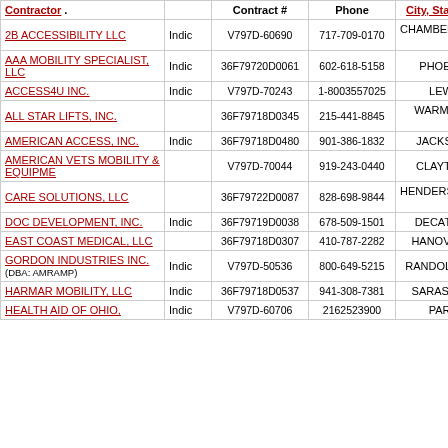| Contractor |  | Contract # | Phone | City, State sort |
| --- | --- | --- | --- | --- |
| 2B ACCESSIBILITY LLC | Indic | V797D-60690 | 717-709-0170 | CHAMBERSBURG ,PA |
| AAA MOBILITY SPECIALIST, LLC | Indic | 36F79720D0061 | 602-618-5158 | PHOENIX ,AZ |
| ACCESS4U INC. | Indic | V797D-70243 | 1-8003557025 | LEWES ,DE |
| ALL STAR LIFTS, INC. |  | 36F79718D0345 | 215-441-8845 | WARMINSTER ,PA |
| AMERICAN ACCESS, INC. | Indic | 36F79718D0480 | 901-386-1832 | JACKSON ,TN |
| AMERICAN VETS MOBILITY & EQUIPME |  | V797D-70044 | 919-243-0440 | CLAYTON ,NC |
| CARE SOLUTIONS, LLC |  | 36F79722D0087 | 828-698-9844 | HENDERSONVILLE ,NC |
| DOC DEVELOPMENT, INC. | Indic | 36F79719D0038 | 678-509-1501 | DECATUR ,GA |
| EAST COAST MEDICAL, LLC |  | 36F79718D0307 | 410-787-2282 | HANOVER ,MD |
| GORDON INDUSTRIES INC. (DBA: AMRAMP) | Indic | V797D-50536 | 800-649-5215 | RANDOLPH ,MA |
| HARMAR MOBILITY, LLC | Indic | 36F79718D0537 | 941-308-7381 | SARASOTA ,FL |
| HEALTH AID OF OHIO, | Indic | V797D-60706 | 2162523900 | PARMA ,OH |